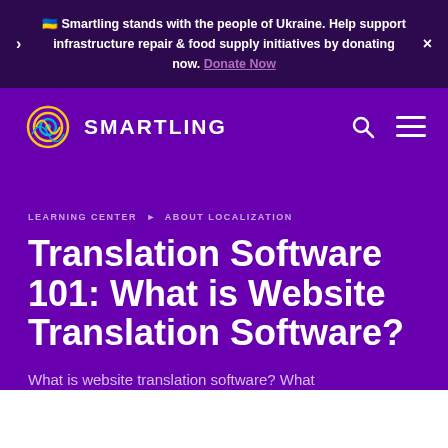🇺🇦 Smartling stands with the people of Ukraine. Help support infrastructure repair & food supply initiatives by donating now. Donate Now
[Figure (logo): Smartling logo with circular fingerprint icon and SMARTLING wordmark in white on purple background]
LEARNING CENTER ▶ ABOUT LOCALIZATION
Translation Software 101: What is Website Translation Software?
What is website translation software? What